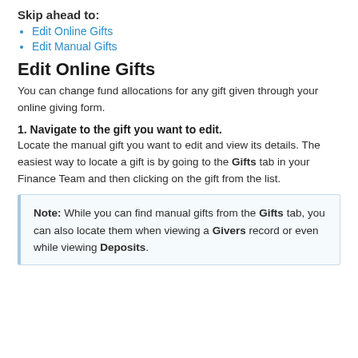Skip ahead to:
Edit Online Gifts
Edit Manual Gifts
Edit Online Gifts
You can change fund allocations for any gift given through your online giving form.
1. Navigate to the gift you want to edit.
Locate the manual gift you want to edit and view its details. The easiest way to locate a gift is by going to the Gifts tab in your Finance Team and then clicking on the gift from the list.
Note: While you can find manual gifts from the Gifts tab, you can also locate them when viewing a Givers record or even while viewing Deposits.